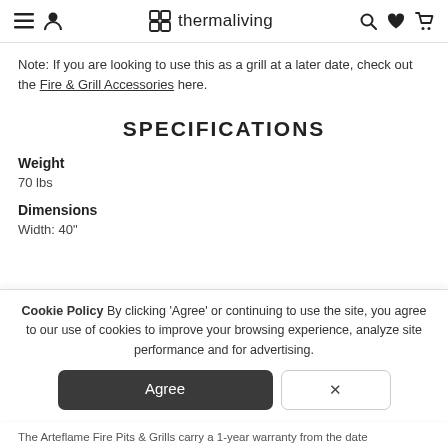thermaliving — navigation bar with menu, user, search, wishlist, cart icons
Note: If you are looking to use this as a grill at a later date, check out the Fire & Grill Accessories here.
SPECIFICATIONS
Weight
70 lbs
Dimensions
Width: 40"
Cookie Policy By clicking 'Agree' or continuing to use the site, you agree to our use of cookies to improve your browsing experience, analyze site performance and for advertising.
The Arteflame Fire Pits & Grills carry a 1-year warranty from the date